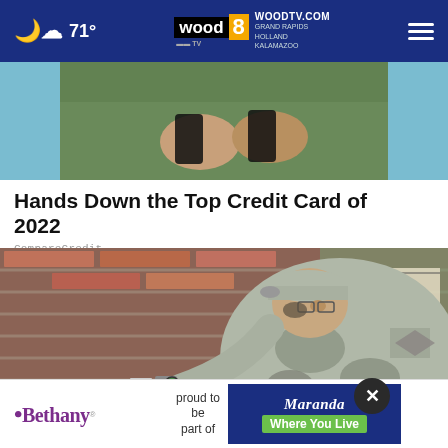71° | WOODTV.COM GRAND RAPIDS HOLLAND KALAMAZOO
[Figure (photo): Cropped photo of a person in an olive green jacket holding a smartphone, teal background]
Hands Down the Top Credit Card of 2022
CompareCredit
[Figure (photo): A military serviceman in camouflage uniform leaning against a brick wall, examining something on the wall]
[Figure (logo): Bethany - proud to be part of Maranda Where You Live advertisement banner]